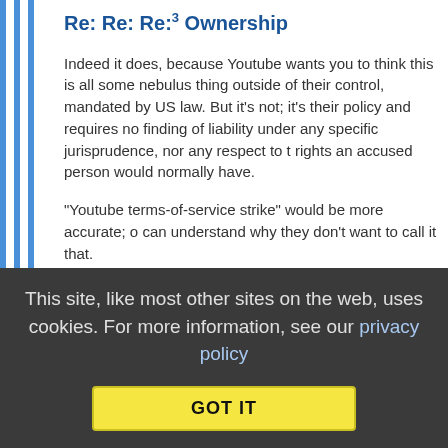Re: Re: Re:3 Ownership
Indeed it does, because Youtube wants you to think this is all some nebulus thing outside of their control, mandated by US law. But it's not; it's their policy and requires no finding of liability under any specific jurisprudence, nor any respect to the rights an accused person would normally have.

"Youtube terms-of-service strike" would be more accurate; one can understand why they don't want to call it that.
Collapse replies (2) | Reply | View in chronology
[Figure (infographic): Row of comment action icons: lightbulb, laughing face, open quote bubble, close quote bubble, flag]
This site, like most other sites on the web, uses cookies. For more information, see our privacy policy
GOT IT